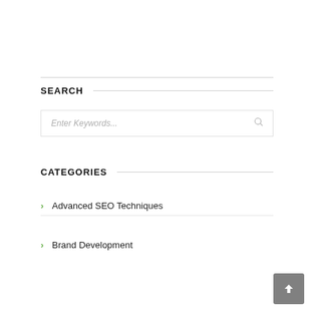SEARCH
[Figure (screenshot): Search input box with placeholder text 'Enter Keywords...' and a magnifier icon]
CATEGORIES
Advanced SEO Techniques
Brand Development